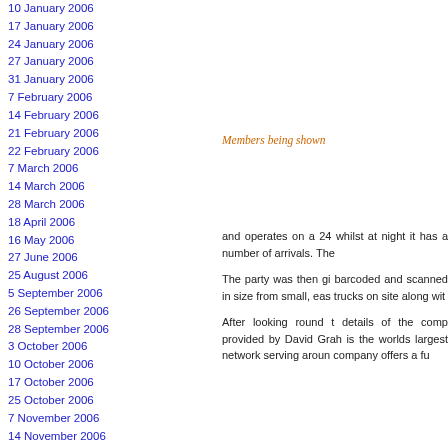10 January 2006
17 January 2006
24 January 2006
27 January 2006
31 January 2006
7 February 2006
14 February 2006
21 February 2006
22 February 2006
7 March 2006
14 March 2006
28 March 2006
18 April 2006
16 May 2006
27 June 2006
25 August 2006
5 September 2006
26 September 2006
28 September 2006
3 October 2006
10 October 2006
17 October 2006
25 October 2006
7 November 2006
14 November 2006
21 November 2006
5 December 2006
Archives 2007
Members being shown
and operates on a 24 whilst at night it has a number of arrivals. The
The party was then gi barcoded and scanned in size from small, eas trucks on site along wit
After looking round t details of the comp provided by David Grah is the worlds largest network serving aroun company offers a fu